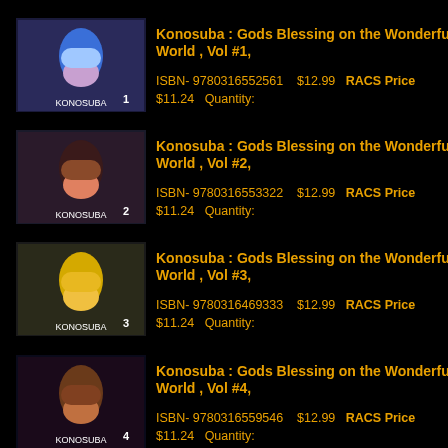[Figure (illustration): Book cover for Konosuba Vol #1 manga featuring blue-haired character]
Konosuba : Gods Blessing on the Wonderful World , Vol #1,
ISBN- 9780316552561    $12.99   RACS Price $11.24   Quantity:
[Figure (illustration): Book cover for Konosuba Vol #2 manga featuring dark-haired character]
Konosuba : Gods Blessing on the Wonderful World , Vol #2,
ISBN- 9780316553322    $12.99   RACS Price $11.24   Quantity:
[Figure (illustration): Book cover for Konosuba Vol #3 manga featuring blonde character]
Konosuba : Gods Blessing on the Wonderful World , Vol #3,
ISBN- 9780316469333    $12.99   RACS Price $11.24   Quantity:
[Figure (illustration): Book cover for Konosuba Vol #4 manga featuring brown-haired character]
Konosuba : Gods Blessing on the Wonderful World , Vol #4,
ISBN- 9780316559546    $12.99   RACS Price $11.24   Quantity: